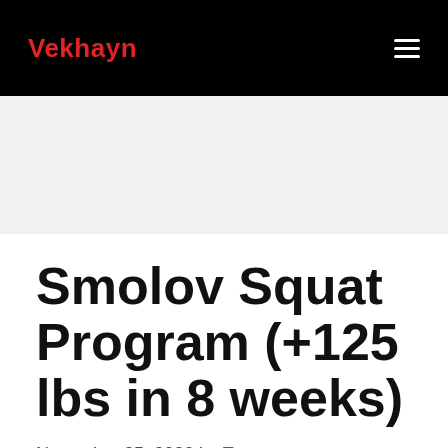Vekhayn
Smolov Squat Program (+125 lbs in 8 weeks)
November 25, 2020 by Tommy